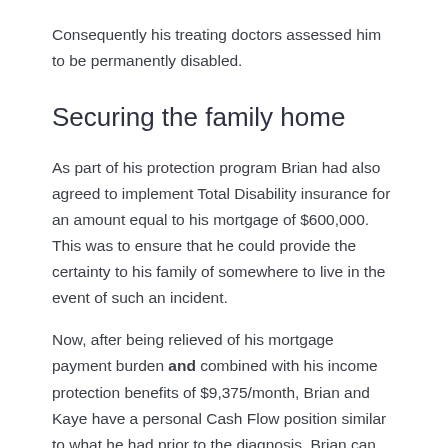Consequently his treating doctors assessed him to be permanently disabled.
Securing the family home
As part of his protection program Brian had also agreed to implement Total Disability insurance for an amount equal to his mortgage of $600,000. This was to ensure that he could provide the certainty to his family of somewhere to live in the event of such an incident.
Now, after being relieved of his mortgage payment burden and combined with his income protection benefits of $9,375/month, Brian and Kaye have a personal Cash Flow position similar to what he had prior to the diagnosis. Brian can concentrate on getting